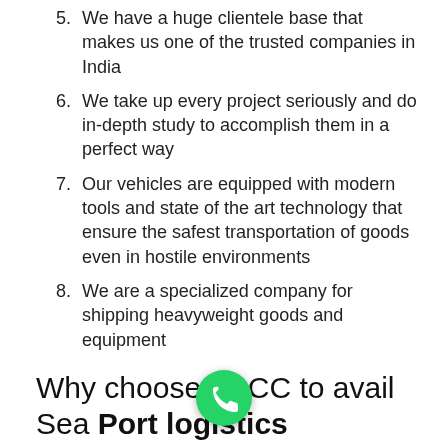5. We have a huge clientele base that makes us one of the trusted companies in India
6. We take up every project seriously and do in-depth study to accomplish them in a perfect way
7. Our vehicles are equipped with modern tools and state of the art technology that ensure the safest transportation of goods even in hostile environments
8. We are a specialized company for shipping heavyweight goods and equipment
Why choose ABCC to avail Sea Port logistics facilities and offshore transportation Service India